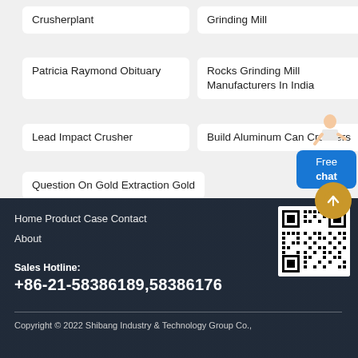Crusherplant
Grinding Mill
Patricia Raymond Obituary
Rocks Grinding Mill Manufacturers In India
Lead Impact Crusher
Build Aluminum Can Crushers
Question On Gold Extraction Gold
Home   Product   Case   Contact
About
Sales Hotline:
+86-21-58386189,58386176
Copyright © 2022 Shibang Industry & Technology Group Co.,